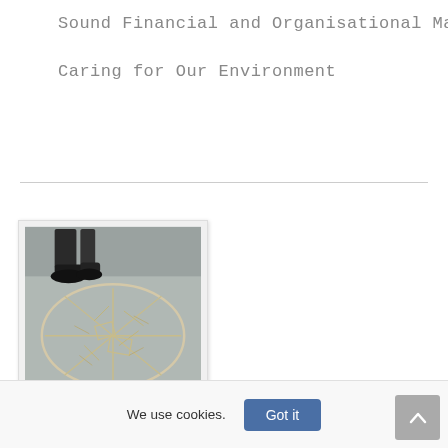Sound Financial and Organisational Ma
Caring for Our Environment
[Figure (photo): Photo of a circular art installation or diagram drawn on a paved ground surface, with sticks or lines arranged in a pattern inside a circle. Feet/legs of a person visible at top of frame. Sandy/concrete pavement background.]
We use cookies.
Got it